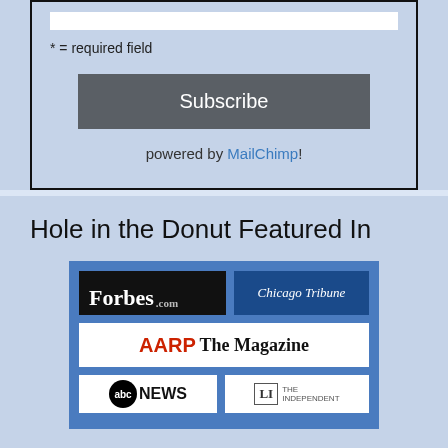* = required field
[Figure (screenshot): Subscribe button widget with 'powered by MailChimp!' text below]
Hole in the Donut Featured In
[Figure (logo): Media logos collage: Forbes.com, Chicago Tribune, AARP The Magazine, ABC News, and another publication on a blue background]